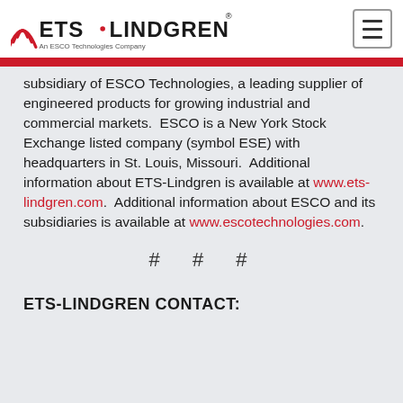ETS-LINDGREN | An ESCO Technologies Company
subsidiary of ESCO Technologies, a leading supplier of engineered products for growing industrial and commercial markets. ESCO is a New York Stock Exchange listed company (symbol ESE) with headquarters in St. Louis, Missouri. Additional information about ETS-Lindgren is available at www.ets-lindgren.com. Additional information about ESCO and its subsidiaries is available at www.escotechnologies.com.
# # #
ETS-LINDGREN CONTACT: